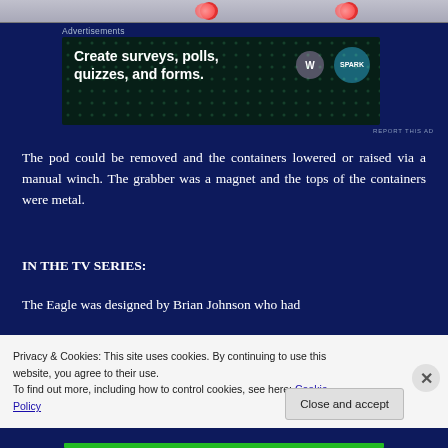[Figure (photo): Top image strip showing decorative elements with red accents on a grey background]
Advertisements
[Figure (screenshot): Advertisement: Create surveys, polls, quizzes, and forms. WordPress and Spark logos shown.]
REPORT THIS AD
The pod could be removed and the containers lowered or raised via a manual winch. The grabber was a magnet and the tops of the containers were metal.
IN THE TV SERIES:
The Eagle was designed by Brian Johnson who had
Privacy & Cookies: This site uses cookies. By continuing to use this website, you agree to their use.
To find out more, including how to control cookies, see here: Cookie Policy
Close and accept